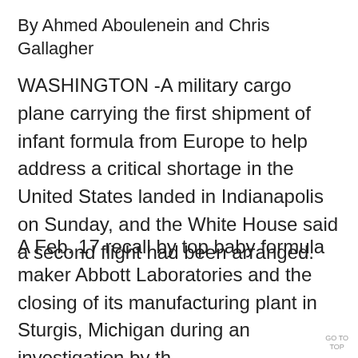By Ahmed Aboulenein and Chris Gallagher
WASHINGTON -A military cargo plane carrying the first shipment of infant formula from Europe to help address a critical shortage in the United States landed in Indianapolis on Sunday, and the White House said a second flight had been arranged.
A Feb. 17 recall by top baby formula maker Abbott Laboratories and the closing of its manufacturing plant in Sturgis, Michigan during an investigation by th
GO TO TOP